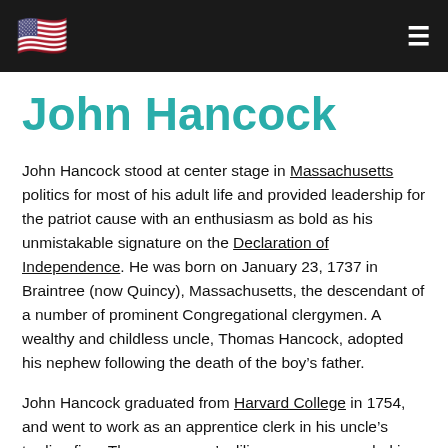🇺🇸 ☰
John Hancock
John Hancock stood at center stage in Massachusetts politics for most of his adult life and provided leadership for the patriot cause with an enthusiasm as bold as his unmistakable signature on the Declaration of Independence. He was born on January 23, 1737 in Braintree (now Quincy), Massachusetts, the descendant of a number of prominent Congregational clergymen. A wealthy and childless uncle, Thomas Hancock, adopted his nephew following the death of the boy's father.
John Hancock graduated from Harvard College in 1754, and went to work as an apprentice clerk in his uncle's trading firm. The young man's diligence was rewarded in 1760 with a business trip to London, where he witnessed the coronation